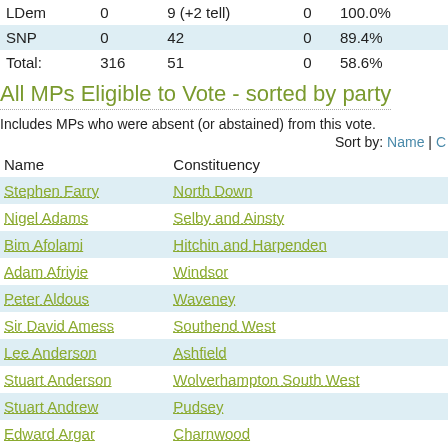|  |  |  |  |  |
| --- | --- | --- | --- | --- |
| LDem | 0 | 9 (+2 tell) | 0 | 100.0% |
| SNP | 0 | 42 | 0 | 89.4% |
| Total: | 316 | 51 | 0 | 58.6% |
All MPs Eligible to Vote - sorted by party
Includes MPs who were absent (or abstained) from this vote.
Sort by: Name | C
| Name | Constituency |
| --- | --- |
| Stephen Farry | North Down |
| Nigel Adams | Selby and Ainsty |
| Bim Afolami | Hitchin and Harpenden |
| Adam Afriyie | Windsor |
| Peter Aldous | Waveney |
| Sir David Amess | Southend West |
| Lee Anderson | Ashfield |
| Stuart Anderson | Wolverhampton South West |
| Stuart Andrew | Pudsey |
| Edward Argar | Charnwood |